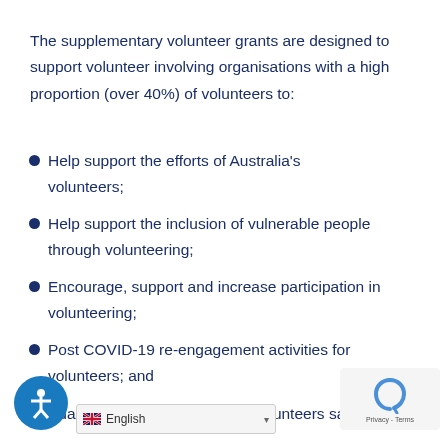The supplementary volunteer grants are designed to support volunteer involving organisations with a high proportion (over 40%) of volunteers to:
Help support the efforts of Australia's volunteers;
Help support the inclusion of vulnerable people through volunteering;
Encourage, support and increase participation in volunteering;
Post COVID-19 re-engagement activities for volunteers; and
Adapting practices to support volunteers safety